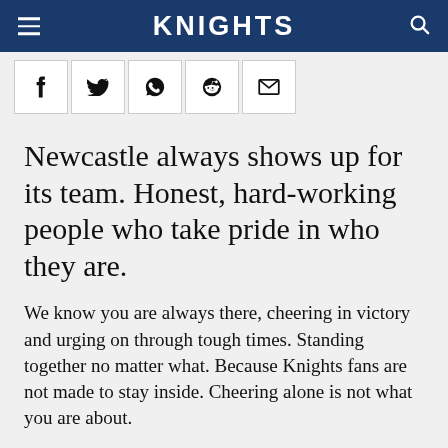KNIGHTS
[Figure (screenshot): Social media share icons: Facebook (f), Twitter (bird), WhatsApp, Reddit, Email (envelope)]
Newcastle always shows up for its team. Honest, hard-working people who take pride in who they are.
We know you are always there, cheering in victory and urging on through tough times. Standing together no matter what. Because Knights fans are not made to stay inside. Cheering alone is not what you are about.